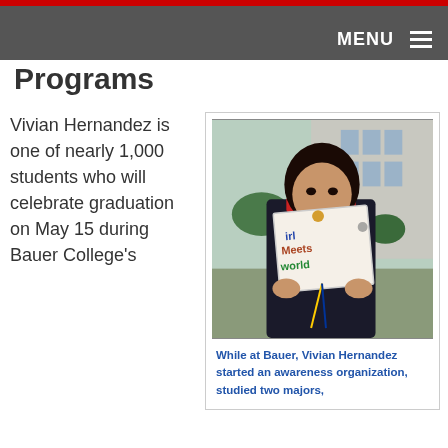MENU
Programs
Vivian Hernandez is one of nearly 1,000 students who will celebrate graduation on May 15 during Bauer College's
[Figure (photo): A graduating student holding up a decorated graduation cap that reads 'Girl Meets World' with various decorations, wearing graduation regalia outdoors in front of a building]
While at Bauer, Vivian Hernandez started an awareness organization, studied two majors,